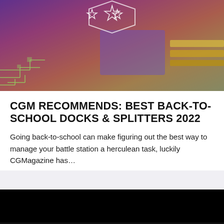[Figure (photo): Gaming/tech themed image with purple-pink tones, stars outline graphic, circuit board elements in background]
CGM RECOMMENDS: BEST BACK-TO-SCHOOL DOCKS & SPLITTERS 2022
Going back-to-school can make figuring out the best way to manage your battle station a herculean task, luckily CGMagazine has…
CGMagazine is a convergance of cutlure and media, looking at gaming, film, tabletop, and technology. With features, reviews, articles and news, CGM is here to keep you informed and in the know on everything new and exciting.